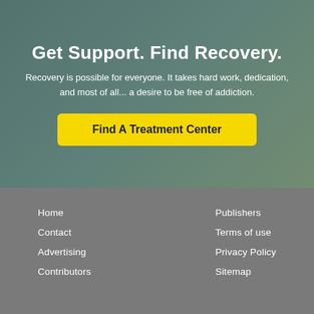Get Support. Find Recovery.
Recovery is possible for everyone. It takes hard work, dedication, and most of all... a desire to be free of addiction.
Find A Treatment Center
Home
Contact
Advertising
Contributors
Publishers
Terms of use
Privacy Policy
Sitemap